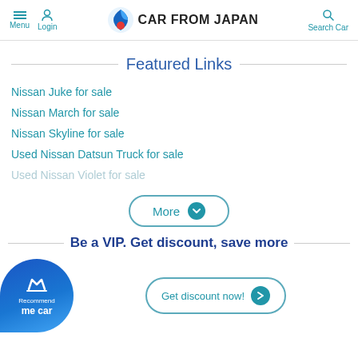Menu | Login | CAR FROM JAPAN | Search Car
Featured Links
Nissan Juke for sale
Nissan March for sale
Nissan Skyline for sale
Used Nissan Datsun Truck for sale
Used Nissan Violet for sale
Be a VIP. Get discount, save more